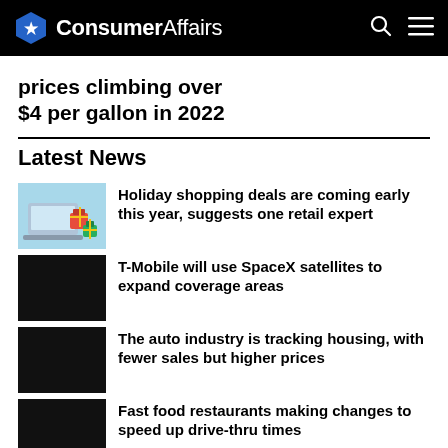ConsumerAffairs
prices climbing over $4 per gallon in 2022
Latest News
Holiday shopping deals are coming early this year, suggests one retail expert
T-Mobile will use SpaceX satellites to expand coverage areas
The auto industry is tracking housing, with fewer sales but higher prices
Fast food restaurants making changes to speed up drive-thru times